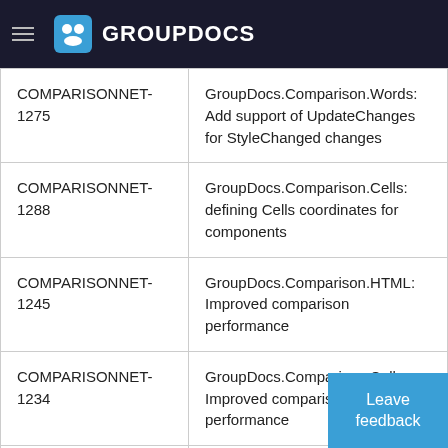GROUPDOCS
| ID | Description |
| --- | --- |
| COMPARISONNET-1275 | GroupDocs.Comparison.Words: Add support of UpdateChanges for StyleChanged changes |
| COMPARISONNET-1288 | GroupDocs.Comparison.Cells: defining Cells coordinates for components |
| COMPARISONNET-1245 | GroupDocs.Comparison.HTML: Improved comparison performance |
| COMPARISONNET-1234 | GroupDocs.Comparison.Cell: Improved comparison performance |
| COMPARISONNET- | GroupDocs.Comparison.Cells: |